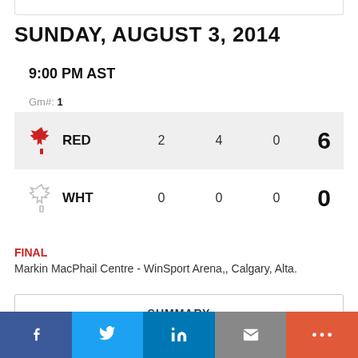SUNDAY, AUGUST 3, 2014
9:00 PM AST
Gm#: 1
| Team | P1 | P2 | P3 | Total |
| --- | --- | --- | --- | --- |
| RED | 2 | 4 | 0 | 6 |
| WHT | 0 | 0 | 0 | 0 |
FINAL
Markin MacPhail Centre - WinSport Arena,, Calgary, Alta.
SUMMARY